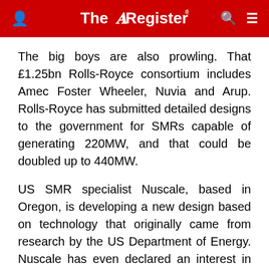The Register
The big boys are also prowling. That £1.25bn Rolls-Royce consortium includes Amec Foster Wheeler, Nuvia and Arup. Rolls-Royce has submitted detailed designs to the government for SMRs capable of generating 220MW, and that could be doubled up to 440MW.
US SMR specialist Nuscale, based in Oregon, is developing a new design based on technology that originally came from research by the US Department of Energy. Nuscale has even declared an interest in developing manufacturing capability and capacity in the UK.